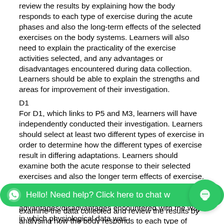review the results by explaining how the body responds to each type of exercise during the acute phases and also the long-term effects of the selected exercises on the body systems. Learners will also need to explain the practicality of the exercise activities selected, and any advantages or disadvantages encountered during data collection. Learners should be able to explain the strengths and areas for improvement of their investigation.
D1
For D1, which links to P5 and M3, learners will have independently conducted their investigation. Learners should select at least two different types of exercise in order to determine how the different types of exercise result in differing adaptations. Learners should examine both the acute response to their selected exercises and also the longer term effects of exercise.
D2
For D2, which links to P6 and M4, learners need to examine the data collected and review the results by analysing how the body responds to each type of exercise during the acute phases and both the longer term effects of the selected exercises. Learners will also need to examine the practicality of the exercise activities selected and advantages/disadvantages encountered with the way in which physiological data was